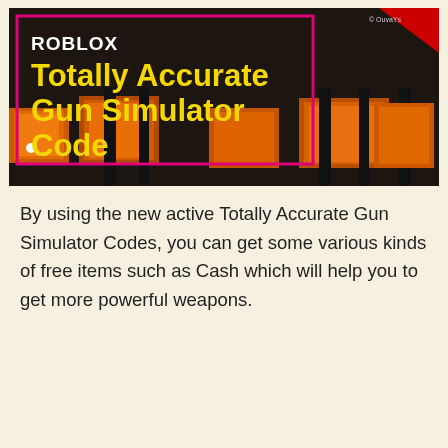[Figure (screenshot): ROBLOX Totally Accurate Gun Simulator Code thumbnail image with yellow bold title text on dark background, pink border box around text, orange scene at bottom, red triangle top-right corner]
By using the new active Totally Accurate Gun Simulator Codes, you can get some various kinds of free items such as Cash which will help you to get more powerful weapons.